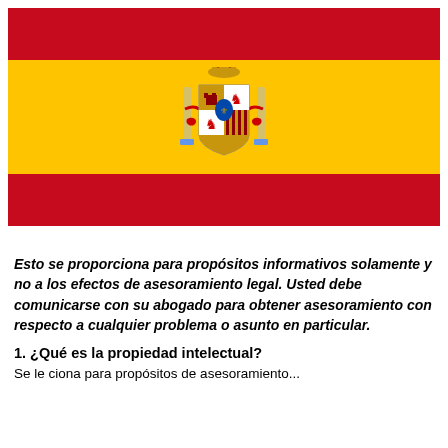[Figure (illustration): Spanish flag with red stripe on top, yellow stripe in middle with coat of arms, and red stripe on bottom]
Esto se proporciona para propósitos informativos solamente y no a los efectos de asesoramiento legal. Usted debe comunicarse con su abogado para obtener asesoramiento con respecto a cualquier problema o asunto en particular.
1. ¿Qué es la propiedad intelectual?
Se le ciona para propósitos de asesoramiento...